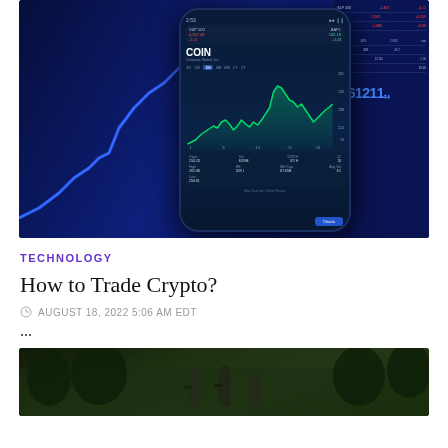[Figure (photo): Person holding a smartphone displaying COIN (Coinbase Global Inc.) stock chart with a green line chart on the phone screen, with a blue trading screen in the background showing various stock tickers and charts.]
TECHNOLOGY
How to Trade Crypto?
AUGUST 18, 2022 5:06 AM EDT
...
[Figure (photo): Tactical/military scene with figures in a forested environment, partially visible at bottom of page.]